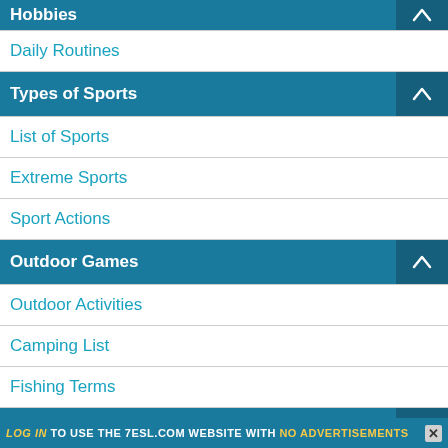Hobbies
Daily Routines
Types of Sports
List of Sports
Extreme Sports
Sport Actions
Outdoor Games
Outdoor Activities
Camping List
Fishing Terms
Verbs with Pictures
LOG IN TO USE THE 7ESL.COM WEBSITE WITH NO ADVERTISEMENTS